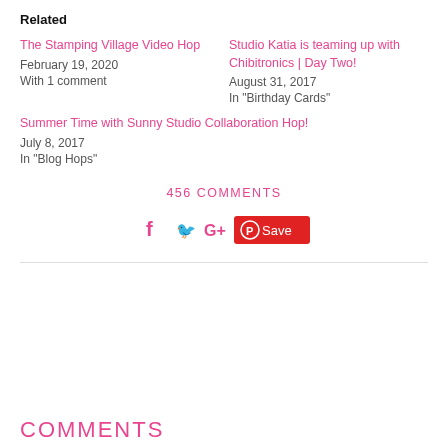Related
The Stamping Village Video Hop
February 19, 2020
With 1 comment
Studio Katia is teaming up with Chibitronics | Day Two!
August 31, 2017
In "Birthday Cards"
Summer Time with Sunny Studio Collaboration Hop!
July 8, 2017
In "Blog Hops"
456 COMMENTS
[Figure (other): Social sharing icons: Facebook (f), Twitter bird, Google+ (G+), and a Pinterest Save button in red]
COMMENTS